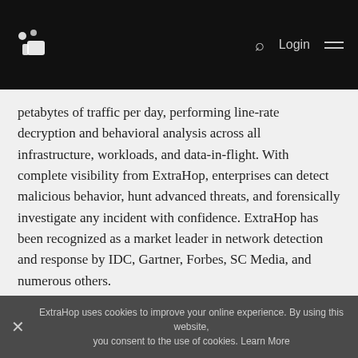ExtraHop logo | Search | Login | Menu
petabytes of traffic per day, performing line-rate decryption and behavioral analysis across all infrastructure, workloads, and data-in-flight. With complete visibility from ExtraHop, enterprises can detect malicious behavior, hunt advanced threats, and forensically investigate any incident with confidence. ExtraHop has been recognized as a market leader in network detection and response by IDC, Gartner, Forbes, SC Media, and numerous others.
When you don't have to choose between protecting your business and moving it forward, that's security uncompromised. Learn more at www.extrahop.com.
ExtraHop uses cookies to improve your online experience. By using this website, you consent to the use of cookies. Learn More